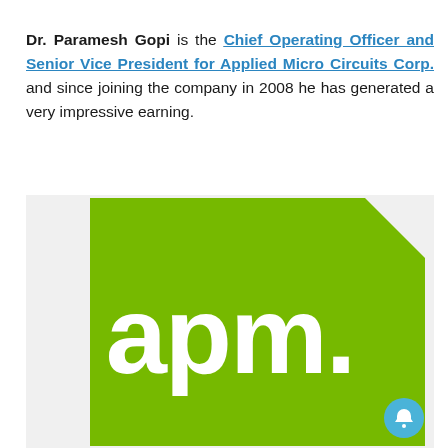Dr. Paramesh Gopi is the Chief Operating Officer and Senior Vice President for Applied Micro Circuits Corp. and since joining the company in 2008 he has generated a very impressive earning.
[Figure (logo): Applied Micro Circuits Corp (AMCC) logo — green square with white 'apm' text, on a light grey background]